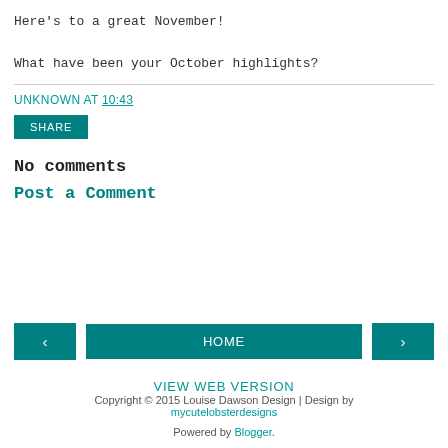Here's to a great November!

What have been your October highlights?
UNKNOWN AT 10:43
SHARE
No comments
Post a Comment
< HOME >
VIEW WEB VERSION
Copyright © 2015 Louise Dawson Design | Design by mycutelobsterdesigns
Powered by Blogger.